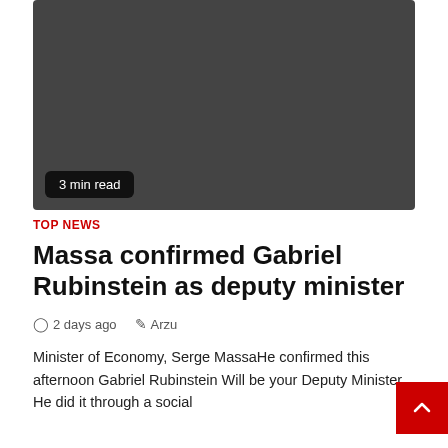[Figure (photo): Dark gray rectangular image placeholder at the top of the article]
3 min read
TOP NEWS
Massa confirmed Gabriel Rubinstein as deputy minister
2 days ago   Arzu
Minister of Economy, Serge MassaHe confirmed this afternoon Gabriel Rubinstein Will be your Deputy Minister. He did it through a social...